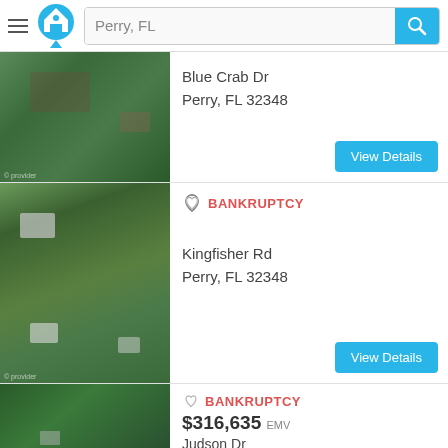Perry, FL
Blue Crab Dr
Perry, FL 32348
View Details
BANKRUPTCY
Kingfisher Rd
Perry, FL 32348
View Details
BANKRUPTCY
$316,635 EMV
Judson Dr